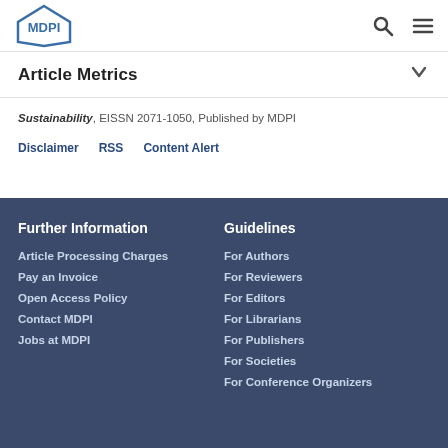MDPI
Article Metrics
Sustainability, EISSN 2071-1050, Published by MDPI
Disclaimer
RSS
Content Alert
Further Information
Article Processing Charges
Pay an Invoice
Open Access Policy
Contact MDPI
Jobs at MDPI
Guidelines
For Authors
For Reviewers
For Editors
For Librarians
For Publishers
For Societies
For Conference Organizers